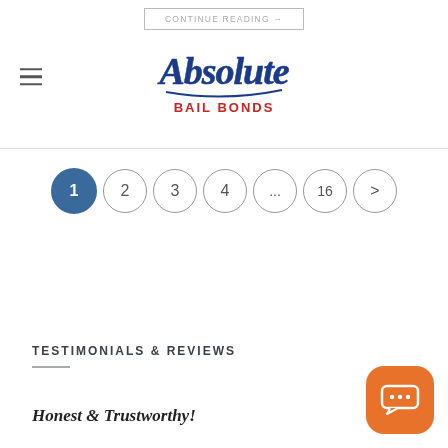CONTINUE READING → [Absolute Bail Bonds logo]
Pagination: 1 (active), 2, 3, 4, ..., 16, >
TESTIMONIALS & REVIEWS
Honest & Trustworthy!